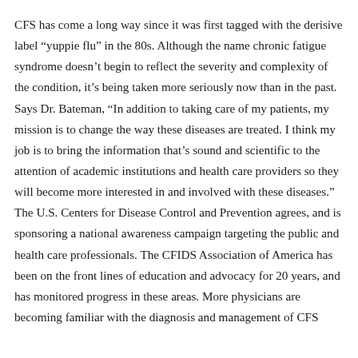CFS has come a long way since it was first tagged with the derisive label “yuppie flu” in the 80s. Although the name chronic fatigue syndrome doesn’t begin to reflect the severity and complexity of the condition, it’s being taken more seriously now than in the past. Says Dr. Bateman, “In addition to taking care of my patients, my mission is to change the way these diseases are treated. I think my job is to bring the information that’s sound and scientific to the attention of academic institutions and health care providers so they will become more interested in and involved with these diseases.” The U.S. Centers for Disease Control and Prevention agrees, and is sponsoring a national awareness campaign targeting the public and health care professionals. The CFIDS Association of America has been on the front lines of education and advocacy for 20 years, and has monitored progress in these areas. More physicians are becoming familiar with the diagnosis and management of CFS